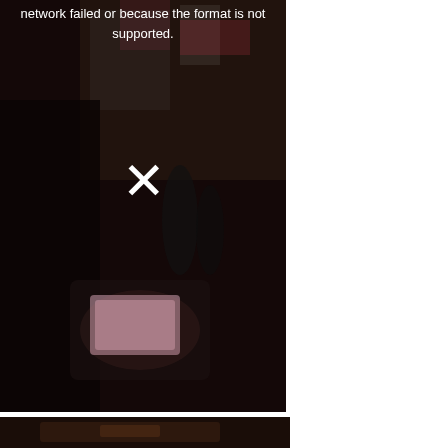[Figure (photo): A dark, blurry photo showing a person holding a smartphone in a busy urban setting (appears to be Times Square or similar city street at night). The image has a video player error overlay showing an X mark and error text. The photo is dark with reddish-brown tones.]
network failed or because the format is not supported.
[Figure (photo): A partial view of a second photo at the bottom of the page, showing a dark scene with warm tones, barely visible.]